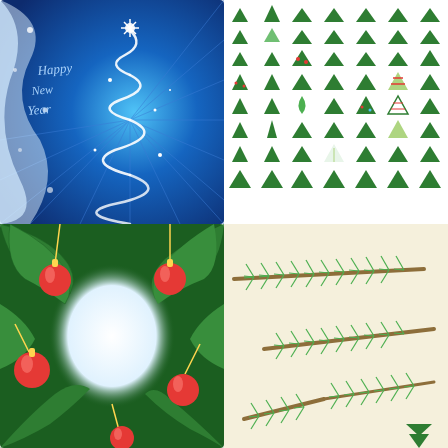[Figure (illustration): Happy New Year greeting card with glowing white spiral Christmas tree on blue radial burst background with snowflakes, cursive text 'Happy New Year' on the left]
[Figure (illustration): Collection of various green Christmas tree icons and silhouettes in multiple styles including decorated, simple, and ornate designs arranged in a grid]
[Figure (illustration): Christmas wreath frame made of green pine branches with red ornament balls hanging from golden ribbons, white center space]
[Figure (illustration): Three detailed pine/fir branches illustrated in green with brown stems shown at different angles on cream background]
[Figure (illustration): Partial green Christmas tree silhouette visible at bottom right corner]